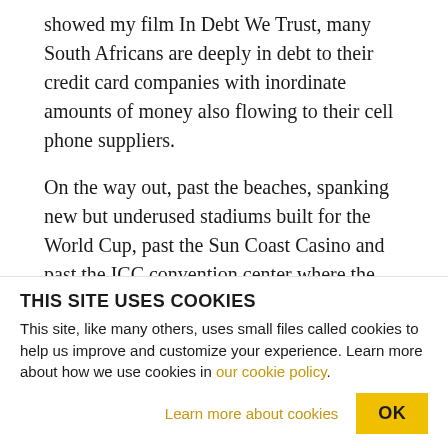showed my film In Debt We Trust, many South Africans are deeply in debt to their credit card companies with inordinate amounts of money also flowing to their cell phone suppliers.
On the way out, past the beaches, spanking new but underused stadiums built for the World Cup, past the Sun Coast Casino and past the ICC convention center where the International Olympic Committee was still meeting, we drove by what's called a settlement, a collection of tin shacks where destitute
THIS SITE USES COOKIES
This site, like many others, uses small files called cookies to help us improve and customize your experience. Learn more about how we use cookies in our cookie policy.
Learn more about cookies
OK